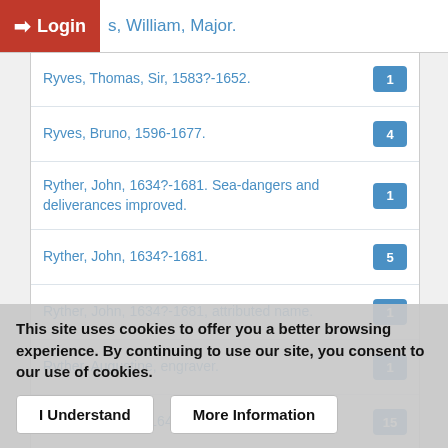Login | s, William, Major.
Ryves, Thomas, Sir, 1583?-1652. [1]
Ryves, Bruno, 1596-1677. [4]
Ryther, John, 1634?-1681. Sea-dangers and deliverances improved. [1]
Ryther, John, 1634?-1681. [5]
Ryther, John, 1634?-1681, attributed name. [1]
Ryther, Augustine, engraver. [1]
Rymer, Thomas, 1641-1713. [15]
This site uses cookies to offer you a better browsing experience. By continuing to use our site, you consent to our use of cookies.
I Understand   More Information